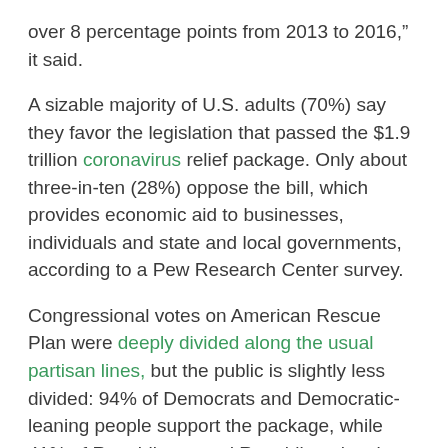over 8 percentage points from 2013 to 2016,” it said.
A sizable majority of U.S. adults (70%) say they favor the legislation that passed the $1.9 trillion coronavirus relief package. Only about three-in-ten (28%) oppose the bill, which provides economic aid to businesses, individuals and state and local governments, according to a Pew Research Center survey.
Congressional votes on American Rescue Plan were deeply divided along the usual partisan lines, but the public is slightly less divided: 94% of Democrats and Democratic-leaning people support the package, while 41% of Republicans and Republican-leaning independents support the measure, it said.